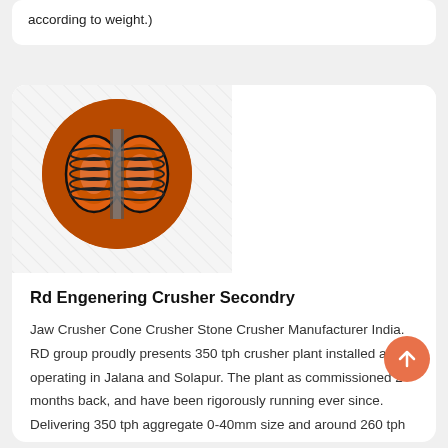according to weight.)
[Figure (photo): Circular photo of an orange cone/stone crusher machine with black and orange components]
Rd Engenering Crusher Secondry
Jaw Crusher Cone Crusher Stone Crusher Manufacturer India. RD group proudly presents 350 tph crusher plant installed and operating in Jalana and Solapur. The plant as commissioned 2 months back, and have been rigorously running ever since. Delivering 350 tph aggregate 0-40mm size and around 260 tph 0-22mm size